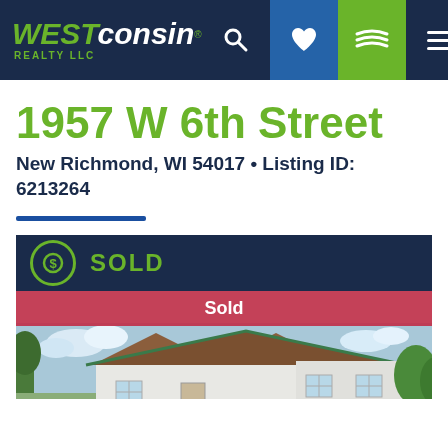WESTconsin REALTY LLC
1957 W 6th Street
New Richmond, WI 54017 • Listing ID: 6213264
SOLD
[Figure (photo): Exterior photo of a house with white siding and brown roof, with a red 'Sold' banner overlay at the top of the image]